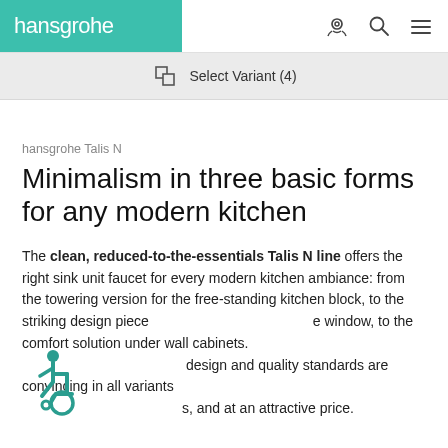hansgrohe
Select Variant (4)
hansgrohe Talis N
Minimalism in three basic forms for any modern kitchen
The clean, reduced-to-the-essentials Talis N line offers the right sink unit faucet for every modern kitchen ambiance: from the towering version for the free-standing kitchen block, to the striking design piece [next to the] window, to the comfort solution under wall cabinets. [High] design and quality standards are convincing in all variants [and finish], and at an attractive price.
[Figure (illustration): Wheelchair accessibility icon in teal/green color]